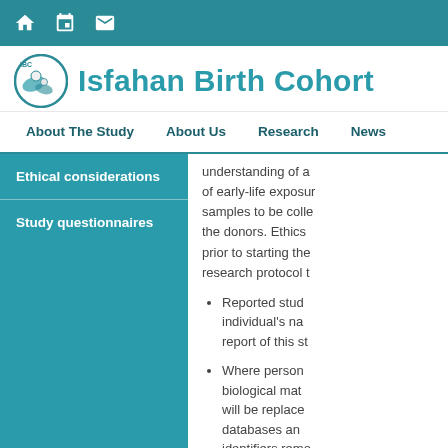Isfahan Birth Cohort website header with navigation icons
Isfahan Birth Cohort
About The Study | About Us | Research | News
Ethical considerations
Study questionnaires
understanding of a... of early-life exposur... samples to be colle... the donors. Ethics... prior to starting the... research protocol t...
Reported stud... individual's na... report of this st...
Where person... biological mat... will be replace... databases an... identifiers remo...
Participants wi...